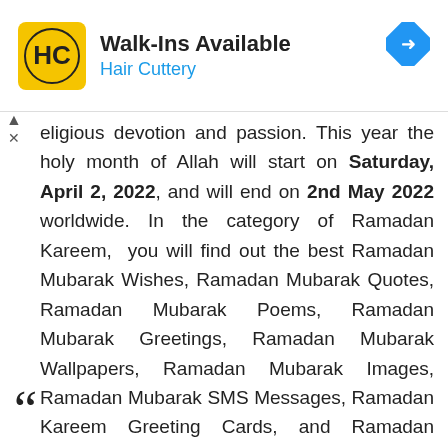[Figure (other): Hair Cuttery advertisement banner with logo and 'Walk-Ins Available' text]
eligious devotion and passion. This year the holy month of Allah will start on Saturday, April 2, 2022, and will end on 2nd May 2022 worldwide. In the category of Ramadan Kareem, you will find out the best Ramadan Mubarak Wishes, Ramadan Mubarak Quotes, Ramadan Mubarak Poems, Ramadan Mubarak Greetings, Ramadan Mubarak Wallpapers, Ramadan Mubarak Images, Ramadan Mubarak SMS Messages, Ramadan Kareem Greeting Cards, and Ramadan Mubarak Status.